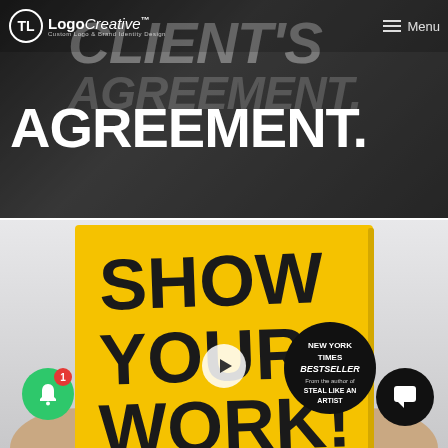[Figure (screenshot): Logo Creative website header with navigation bar showing logo and Menu button, overlaid on dark blurred background with large bold white text reading CLIENT'S AGREEMENT.]
[Figure (photo): Book cover of 'Show Your Work!' – yellow cover with black handwritten text, New York Times Bestseller badge, from the author of Steal Like An Artist. Hands holding the book. Overlaid play button, green notification bell with red badge showing 1, and black chat button.]